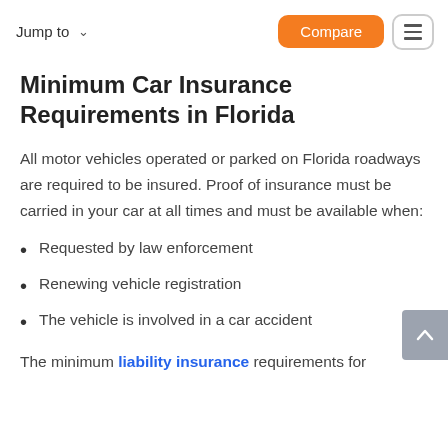Jump to   Compare
Minimum Car Insurance Requirements in Florida
All motor vehicles operated or parked on Florida roadways are required to be insured. Proof of insurance must be carried in your car at all times and must be available when:
Requested by law enforcement
Renewing vehicle registration
The vehicle is involved in a car accident
The minimum liability insurance requirements for